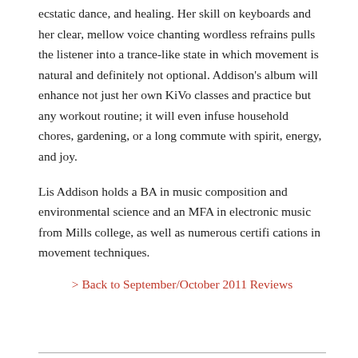ecstatic dance, and healing. Her skill on keyboards and her clear, mellow voice chanting wordless refrains pulls the listener into a trance-like state in which movement is natural and definitely not optional. Addison’s album will enhance not just her own KiVo classes and practice but any workout routine; it will even infuse household chores, gardening, or a long commute with spirit, energy, and joy.
Lis Addison holds a BA in music composition and environmental science and an MFA in electronic music from Mills college, as well as numerous certifi cations in movement techniques.
> Back to September/October 2011 Reviews